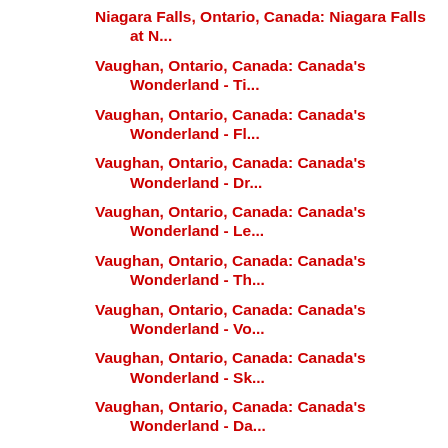Niagara Falls, Ontario, Canada: Niagara Falls at N...
Vaughan, Ontario, Canada: Canada's Wonderland - Ti...
Vaughan, Ontario, Canada: Canada's Wonderland - Fl...
Vaughan, Ontario, Canada: Canada's Wonderland - Dr...
Vaughan, Ontario, Canada: Canada's Wonderland - Le...
Vaughan, Ontario, Canada: Canada's Wonderland - Th...
Vaughan, Ontario, Canada: Canada's Wonderland - Vo...
Vaughan, Ontario, Canada: Canada's Wonderland - Sk...
Vaughan, Ontario, Canada: Canada's Wonderland - Da...
On Eating at Amusement Parks
Vaughan, Ontario, Canada: Canada's Wonderland - Vi...
Vaughan, Ontario, Canada: Canada's Wonderland - Wi...